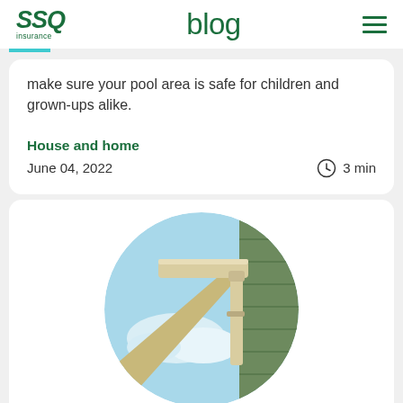SSQ insurance — blog
make sure your pool area is safe for children and grown-ups alike.
House and home
June 04, 2022   3 min
[Figure (photo): Circular cropped photo of a house gutter/downspout corner against a blue sky with green siding visible]